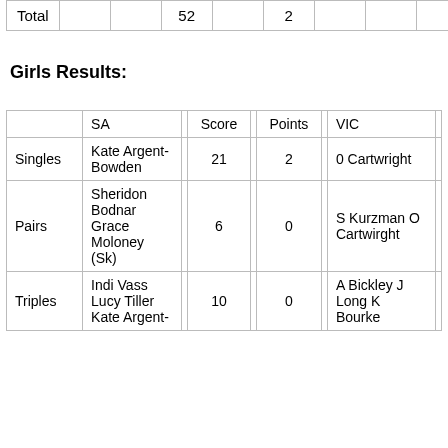|  |  |  | 52 |  | 2 |  |  |  |
| --- | --- | --- | --- | --- | --- | --- | --- | --- |
| Total |  |  | 52 |  | 2 |  |  |  |
Girls Results:
|  | SA |  | Score |  | Points |  | VIC |  |
| --- | --- | --- | --- | --- | --- | --- | --- | --- |
| Singles | Kate Argent-Bowden |  | 21 |  | 2 |  | 0 Cartwright |  |
| Pairs | Sheridon Bodnar Grace Moloney (Sk) |  | 6 |  | 0 |  | S Kurzman O Cartwirght |  |
| Triples | Indi Vass Lucy Tiller Kate Argent- |  | 10 |  | 0 |  | A Bickley J Long K Bourke |  |